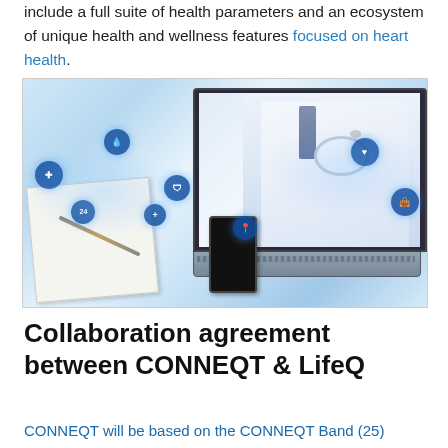include a full suite of health parameters and an ecosystem of unique health and wellness features focused on heart health.
[Figure (photo): Photo of a laptop displaying a doctor with a stethoscope on screen, surrounded by floating health and wellness icons (medical cross, water drop, shield, heart, location pin, clock, bag), with a notebook, pen and smartphone in the foreground.]
Collaboration agreement between CONNEQT & LifeQ
CONNEQT will be based on the CONNEQT Band (25)